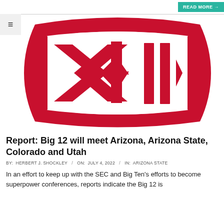READ MORE →
[Figure (logo): Big 12 Conference logo — red stylized frame shape with XII lettering in red on white background]
Report: Big 12 will meet Arizona, Arizona State, Colorado and Utah
BY: HERBERT J. SHOCKLEY / ON: JULY 4, 2022 / IN: ARIZONA STATE
In an effort to keep up with the SEC and Big Ten's efforts to become superpower conferences, reports indicate the Big 12 is